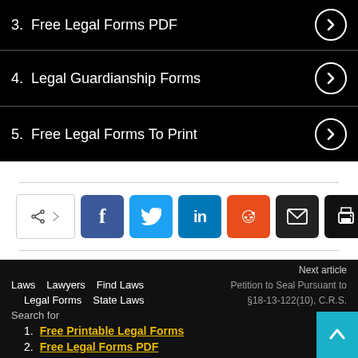3.  Free Legal Forms PDF
4.  Legal Guardianship Forms
5.  Free Legal Forms To Print
[Figure (infographic): Social share bar with share icon, Facebook, Twitter, LinkedIn, Reddit, Email, and Print buttons]
Next article
Laws   Lawyers   Find Laws
Petition to Seal Pursuant to §18-13-122(10), C.R.S.
Legal Forms   State Laws
Search for
1.  Free Printable Legal Forms
2.  Free Legal Forms PDF